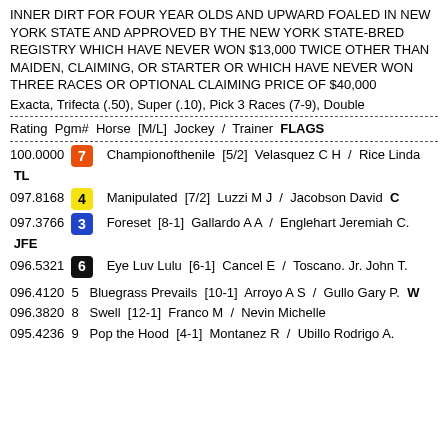INNER DIRT FOR FOUR YEAR OLDS AND UPWARD FOALED IN NEW YORK STATE AND APPROVED BY THE NEW YORK STATE-BRED REGISTRY WHICH HAVE NEVER WON $13,000 TWICE OTHER THAN MAIDEN, CLAIMING, OR STARTER OR WHICH HAVE NEVER WON THREE RACES OR OPTIONAL CLAIMING PRICE OF $40,000
Exacta, Trifecta (.50), Super (.10), Pick 3 Races (7-9), Double
Rating  Pgm#  Horse  [M/L]  Jockey /  Trainer  FLAGS
100.0000  7  Championofthenile  [5/2]  Velasquez C H  /  Rice Linda  TL
097.8168  4  Manipulated  [7/2]  Luzzi M J  /  Jacobson David  C
097.3766  3  Foreset  [8-1]  Gallardo A A  /  Englehart Jeremiah C.  JFE
096.5321  6  Eye Luv Lulu  [6-1]  Cancel E  /  Toscano. Jr. John T.
096.4120  5  Bluegrass Prevails  [10-1]  Arroyo A S  /  Gullo Gary P.  W
096.3820  8  Swell  [12-1]  Franco M  /  Nevin Michelle
095.4236  9  Pop the Hood  [4-1]  Montanez R  /  Ubillo Rodrigo A.